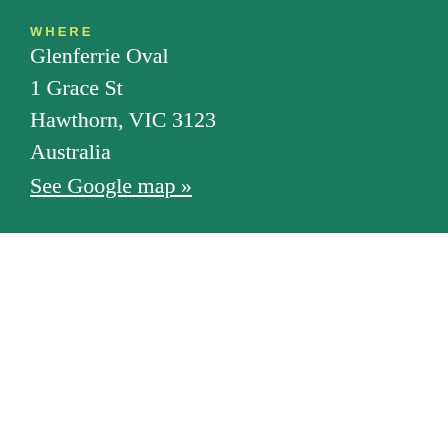WHERE
Glenferrie Oval
1 Grace St
Hawthorn, VIC 3123
Australia
See Google map »